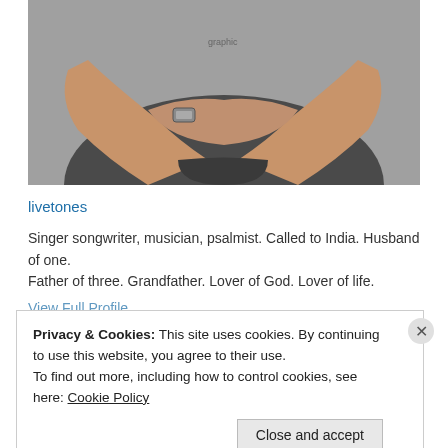[Figure (photo): A person with crossed arms wearing a dark t-shirt with a graphic, and a watch on the wrist. The photo shows the torso and arms area.]
livetones
Singer songwriter, musician, psalmist. Called to India. Husband of one. Father of three. Grandfather. Lover of God. Lover of life.
View Full Profile
Privacy & Cookies: This site uses cookies. By continuing to use this website, you agree to their use.
To find out more, including how to control cookies, see here: Cookie Policy
Close and accept